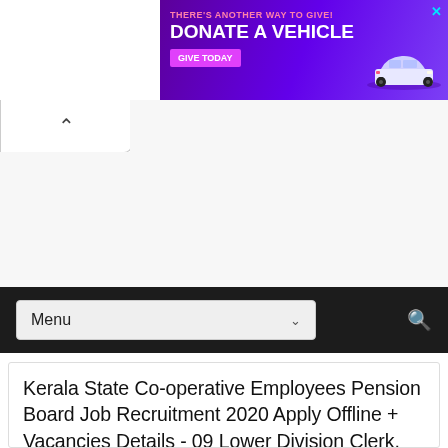[Figure (other): Purple/violet advertisement banner: 'THERE'S ANOTHER WAY TO GIVE! DONATE A VEHICLE' with 'GIVE TODAY' button and car graphic]
[Figure (screenshot): Web browser UI element: white tab with up-arrow caret symbol]
[Figure (screenshot): Black navigation bar with Menu dropdown and search icon]
Kerala State Co-operative Employees Pension Board Job Recruitment 2020 Apply Offline + Vacancies Details - 09 Lower Division Clerk, Data Entry Operator, Attender posts.